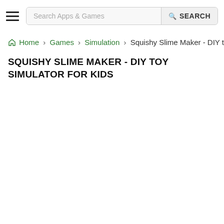Search Apps & Games | SEARCH
Home › Games › Simulation › Squishy Slime Maker - DIY toy s
SQUISHY SLIME MAKER - DIY TOY SIMULATOR FOR KIDS